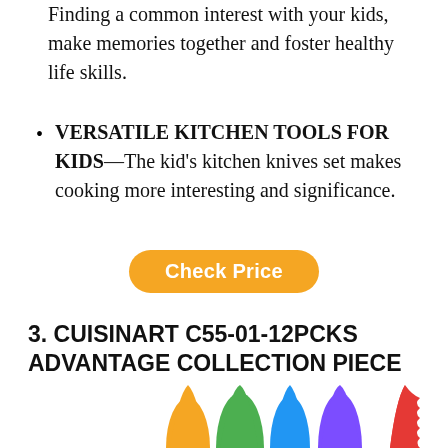Finding a common interest with your kids, make memories together and foster healthy life skills.
VERSATILE KITCHEN TOOLS FOR KIDS—The kid's kitchen knives set makes cooking more interesting and significance.
Check Price
3. CUISINART C55-01-12PCKS ADVANTAGE COLLECTION PIECE
[Figure (photo): Colorful kitchen knives (orange, green, blue, purple, red) arranged side by side, showing only the blade portions against a white background.]